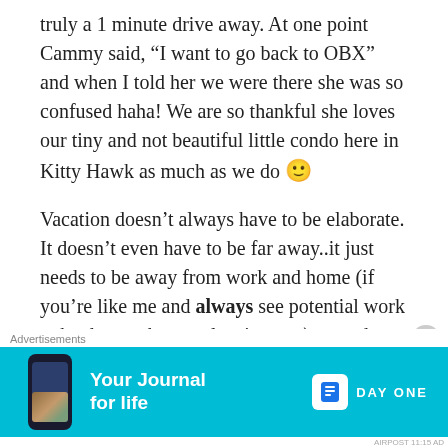truly a 1 minute drive away. At one point Cammy said, “I want to go back to OBX” and when I told her we were there she was so confused haha! We are so thankful she loves our tiny and not beautiful little condo here in Kitty Hawk as much as we do 🙂
Vacation doesn’t always have to be elaborate. It doesn’t even have to be far away..it just needs to be away from work and home (if you’re like me and always see potential work to be done at home, cleaning, etc) — and you just need those you love. Happy Monday from a refreshed
Advertisements
[Figure (other): Advertisement banner for Day One journal app with cyan/teal background, phone graphic on left, 'Your Journal for life' headline, and Day One logo on right]